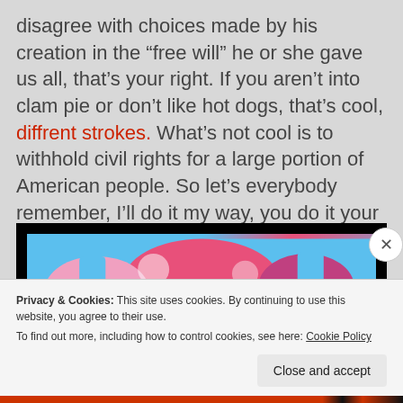disagree with choices made by his creation in the “free will” he or she gave us all, that’s your right. If you aren’t into clam pie or don’t like hot dogs, that’s cool, diffrent strokes. What’s not cool is to withhold civil rights for a large portion of American people. So let’s everybody remember, I’ll do it my way, you do it your way, and the sun will still rise.
[Figure (illustration): Colorful cartoon/pop art illustration with pink and blue tones on black background]
Privacy & Cookies: This site uses cookies. By continuing to use this website, you agree to their use.
To find out more, including how to control cookies, see here: Cookie Policy
Close and accept